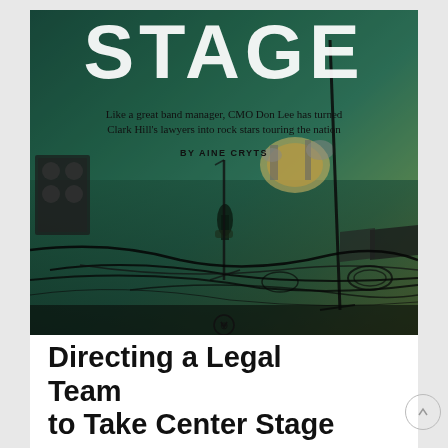[Figure (photo): Concert stage photo with teal/green-yellow gradient overlay. Shows stage equipment, microphone stands, cables, guitar, drum kit in the background. Large 'STAGE' text in white dotted/grunge font overlaid at the top. Subtitle text and byline overlaid on the image.]
Like a great band manager, CMO Don Lee has turned Clark Hill's lawyers into rock stars touring the nation
BY AINE CRYTS
Directing a Legal Team to Take Center Stage